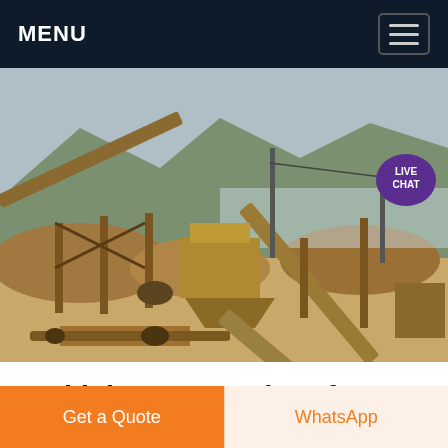MENU
[Figure (photo): Outdoor industrial cement/aggregate plant with conveyor belts, crushing machinery, and large sand/gravel stockpiles against a mountainous background.]
Turkish cement plant for sale •
Get a Quote
WhatsApp